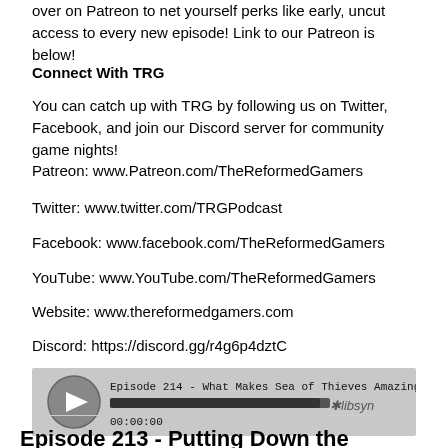over on Patreon to net yourself perks like early, uncut access to every new episode! Link to our Patreon is below!
Connect With TRG
You can catch up with TRG by following us on Twitter, Facebook, and join our Discord server for community game nights!
Patreon: www.Patreon.com/TheReformedGamers
Twitter: www.twitter.com/TRGPodcast
Facebook: www.facebook.com/TheReformedGamers
YouTube: www.YouTube.com/TheReformedGamers
Website: www.thereformedgamers.com
Discord: https://discord.gg/r4g6p4dztC
[Figure (screenshot): Podcast audio player widget showing Episode 214 - What Makes Sea of Thieves Amazing (feat. ...) with play button, progress bar, timestamp 00:00:00, and libsyn logo]
Download this Episode
Episode 213 - Putting Down the Controller (...